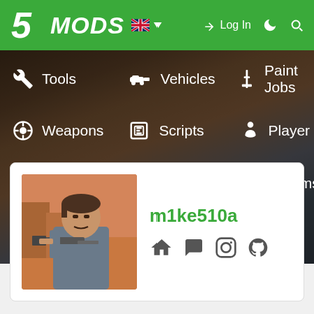5MODS navigation bar with Log In, language selector, moon icon, search icon
[Figure (screenshot): Navigation menu with dark blurred background showing menu items: Tools, Vehicles, Paint Jobs, Weapons, Scripts, Player, Maps, Misc, Forums, More]
[Figure (photo): User profile card for m1ke510a with GTA character avatar and social media icons (home, chat, Instagram, GitHub)]